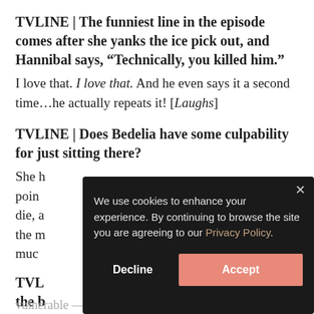TVLINE | The funniest line in the episode comes after she yanks the ice pick out, and Hannibal says, “Technically, you killed him.”
I love that. I love that. And he even says it a second time…he actually repeats it! [Laughs]
TVLINE | Does Bedelia have some culpability for just sitting there?
She [partial, obscured by modal] poin[t...] die, a[...] the m[...] muc[h...]
TVLI[NE...] the b[...] vulnerable — while Hannibal washes her hair. And
[Figure (screenshot): Cookie consent modal with dark background. Text: 'We use cookies to enhance your experience. By continuing to browse the site you are agreeing to our Privacy Policy.' Two buttons: 'Decline' (left, white text) and 'Accept' (right, salmon/pink background). Close X button in top right corner.]